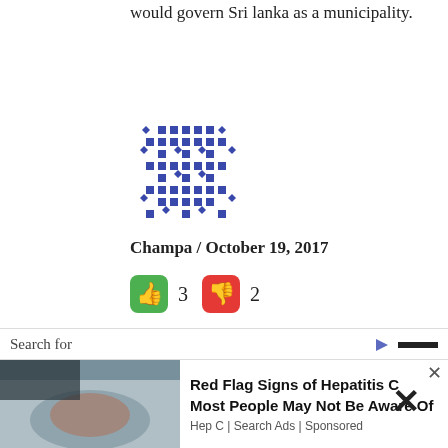would govern Sri lanka as a municipality.
[Figure (illustration): Blue geometric avatar/identicon pattern made of diamond/square shapes arranged in a grid]
Champa / October 19, 2017
👍 3  👎 2
Exactly, Jimsofty. If they don't talk about this crap in their retirement, nobody knows that they exist. People must understand what initiated in 1984 will never fit in 2017 where
Search for
[Figure (infographic): Advertisement: Red Flag Signs of Hepatitis C Most People May Not Be Aware Of - Hep C | Search Ads | Sponsored, with a photo of a person's arm]